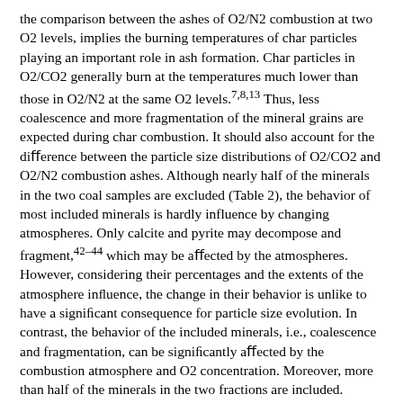the comparison between the ashes of O2/N2 combustion at two O2 levels, implies the burning temperatures of char particles playing an important role in ash formation. Char particles in O2/CO2 generally burn at the temperatures much lower than those in O2/N2 at the same O2 levels.7,8,13 Thus, less coalescence and more fragmentation of the mineral grains are expected during char combustion. It should also account for the difference between the particle size distributions of O2/CO2 and O2/N2 combustion ashes. Although nearly half of the minerals in the two coal samples are excluded (Table 2), the behavior of most included minerals is hardly influence by changing atmospheres. Only calcite and pyrite may decompose and fragment,42–44 which may be affected by the atmospheres. However, considering their percentages and the extents of the atmosphere influence, the change in their behavior is unlike to have a significant consequence for particle size evolution. In contrast, the behavior of the included minerals, i.e., coalescence and fragmentation, can be significantly affected by the combustion atmosphere and O2 concentration. Moreover, more than half of the minerals in the two fractions are included. Therefore, the behavior of the included minerals dominates ash particle size evolution, which can be affected by changing atmospheres. Figure 8 compares the percentages of the included minerals in N2 and CO2 chars to those of the parent